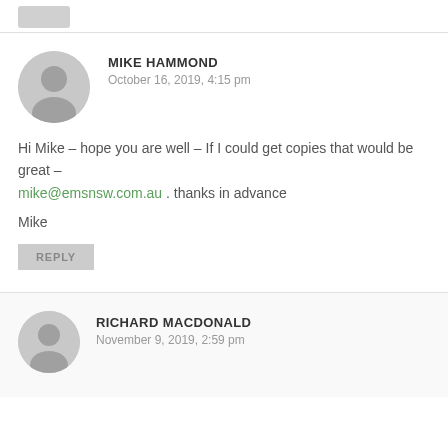[Figure (illustration): Partial avatar/stub at top of page]
MIKE HAMMOND
October 16, 2019, 4:15 pm
Hi Mike – hope you are well – If I could get copies that would be great – mike@emsnsw.com.au . thanks in advance
Mike
REPLY
RICHARD MACDONALD
November 9, 2019, 2:59 pm